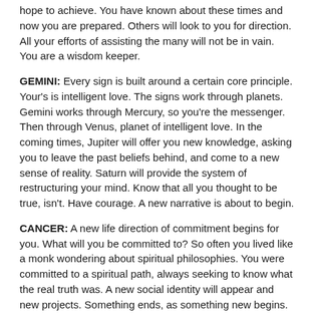hope to achieve. You have known about these times and now you are prepared. Others will look to you for direction. All your efforts of assisting the many will not be in vain. You are a wisdom keeper.
GEMINI: Every sign is built around a certain core principle. Your's is intelligent love. The signs work through planets. Gemini works through Mercury, so you're the messenger. Then through Venus, planet of intelligent love. In the coming times, Jupiter will offer you new knowledge, asking you to leave the past beliefs behind, and come to a new sense of reality. Saturn will provide the system of restructuring your mind. Know that all you thought to be true, isn't. Have courage. A new narrative is about to begin.
CANCER: A new life direction of commitment begins for you. What will you be committed to? So often you lived like a monk wondering about spiritual philosophies. You were committed to a spiritual path, always seeking to know what the real truth was. A new social identity will appear and new projects. Something ends, as something new begins. A culmination of the past presents itself. You reach out to others, form new relationships. You have been lovely these past years.
LEO: Jupiter and Saturn together helps establish new loving boundaries and structures in all relationships, interactions and